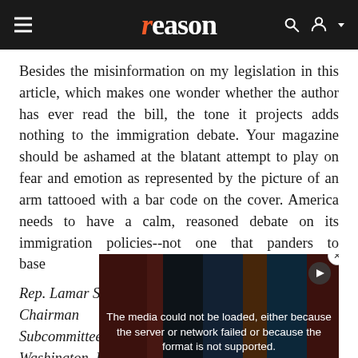reason
Besides the misinformation on my legislation in this article, which makes one wonder whether the author has ever read the bill, the tone it projects adds nothing to the immigration debate. Your magazine should be ashamed at the blatant attempt to play on fear and emotion as represented by the picture of an arm tattooed with a bar code on the cover. America needs to have a calm, reasoned debate on its immigration policies--not one that panders to base...
Rep. Lamar Smi...
Chairman
Subcommittee o...
Washington, DC...
[Figure (screenshot): Video player overlay showing error message: 'The media could not be loaded, either because the server or network failed or because the format is not supported.' with an X close button and protest imagery in background.]
Your readers mu... attacks on me, particularly considering that in 20 years in...